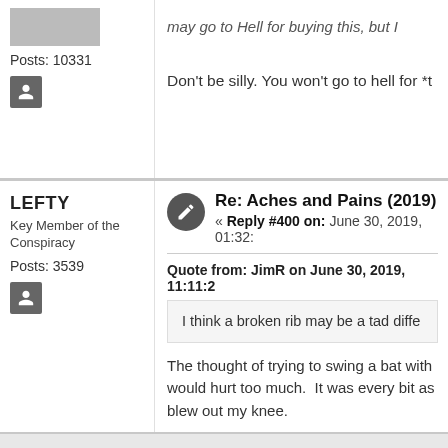Posts: 10331
Don't be silly. You won't go to hell for *t
LEFTY
Key Member of the Conspiracy
Posts: 3539
Re: Aches and Pains (2019)
« Reply #400 on: June 30, 2019, 01:32:
Quote from: JimR on June 30, 2019, 11:11:2
I think a broken rib may be a tad diffe
The thought of trying to swing a bat with would hurt too much. It was every bit as blew out my knee.
You may ask yourself, "How do I work this?"